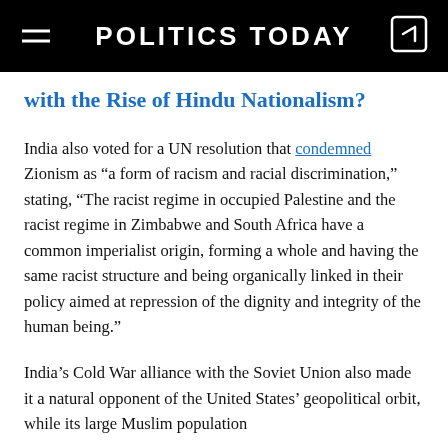POLITICS TODAY
with the Rise of Hindu Nationalism?
India also voted for a UN resolution that condemned Zionism as “a form of racism and racial discrimination,” stating, “The racist regime in occupied Palestine and the racist regime in Zimbabwe and South Africa have a common imperialist origin, forming a whole and having the same racist structure and being organically linked in their policy aimed at repression of the dignity and integrity of the human being.”
India’s Cold War alliance with the Soviet Union also made it a natural opponent of the United States’ geopolitical orbit, while its large Muslim population